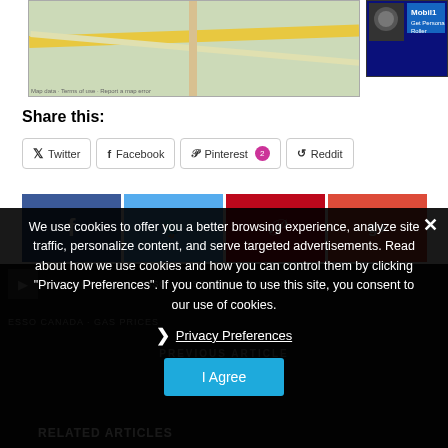[Figure (screenshot): Map screenshot showing a street map with roads and a location pin]
[Figure (photo): Mobil1 advertisement banner with person and 'Get Personal' text]
Share this:
Twitter
Facebook
Pinterest 2
Reddit
[Figure (screenshot): Social share buttons row: Facebook, Twitter, Pinterest, Google+]
AUTOMOBILES  ESSO  ESSO FUEL FINDER
ESSO ...
PREVIOUS ARTICLE
RELATED ARTICLES
We use cookies to offer you a better browsing experience, analyze site traffic, personalize content, and serve targeted advertisements. Read about how we use cookies and how you can control them by clicking "Privacy Preferences". If you continue to use this site, you consent to our use of cookies.
Privacy Preferences
I Agree